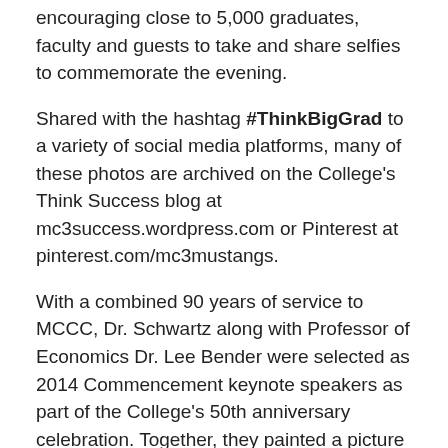encouraging close to 5,000 graduates, faculty and guests to take and share selfies to commemorate the evening.
Shared with the hashtag #ThinkBigGrad to a variety of social media platforms, many of these photos are archived on the College's Think Success blog at mc3success.wordpress.com or Pinterest at pinterest.com/mc3mustangs.
With a combined 90 years of service to MCCC, Dr. Schwartz along with Professor of Economics Dr. Lee Bender were selected as 2014 Commencement keynote speakers as part of the College's 50th anniversary celebration. Together, they painted a picture of 1960s and imparted wisdom from lessons learned to graduates from the Class of 2014.